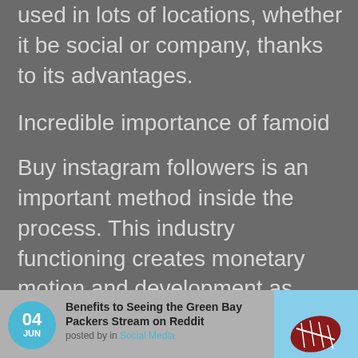used in lots of locations, whether it be social or company, thanks to its advantages.
Incredible importance of famoid
Buy instagram followers is an important method inside the process. This industry functioning creates monetary motion and development as people's position with their tasks or location.
[Figure (infographic): Footer card with date badge showing 04 JUN in a teal circle, article title 'Benefits to Seeing the Green Bay Packers Stream on Reddit', posted by in Social Media, and a thumbnail photo of a football]
Benefits to Seeing the Green Bay Packers Stream on Reddit
posted by in Social Media